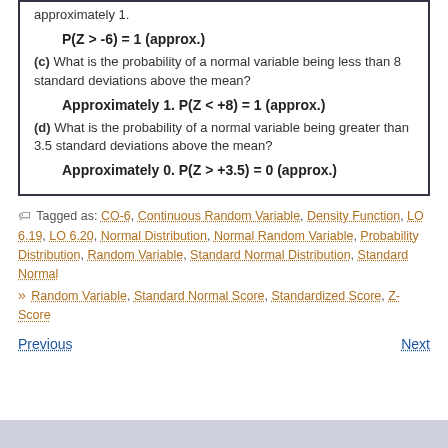approximately 1.
(c) What is the probability of a normal variable being less than 8 standard deviations above the mean?
(d) What is the probability of a normal variable being greater than 3.5 standard deviations above the mean?
Tagged as: CO-6, Continuous Random Variable, Density Function, LO 6.19, LO 6.20, Normal Distribution, Normal Random Variable, Probability Distribution, Random Variable, Standard Normal Distribution, Standard Normal Random Variable, Standard Normal Score, Standardized Score, Z-Score
Previous | Next